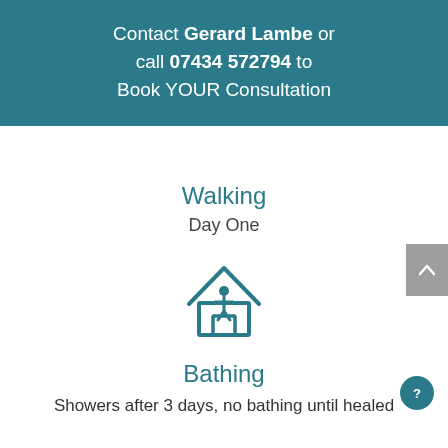Contact Gerard Lambe or call 07434 572794 to Book YOUR Consultation
[Figure (illustration): Partial arc/circle icon at top of content area, teal colored]
Walking
Day One
[Figure (illustration): Teal house/home icon]
Bathing
Showers after 3 days, no bathing until healed
[Figure (illustration): Gray scroll-to-top button on right edge]
[Figure (illustration): Teal circular help/question mark button bottom right]
[Figure (illustration): Partial icons at very bottom of page]